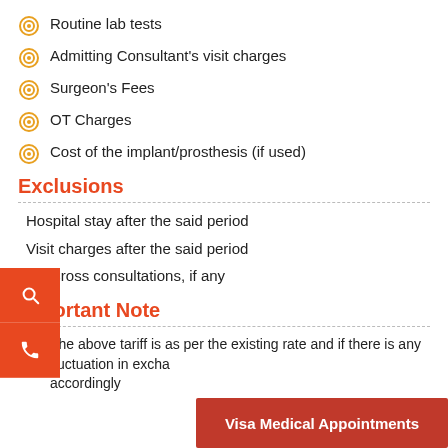Routine lab tests
Admitting Consultant's visit charges
Surgeon's Fees
OT Charges
Cost of the implant/prosthesis (if used)
Exclusions
Hospital stay after the said period
Visit charges after the said period
Cross consultations, if any
Important Note
The above tariff is as per the existing rate and if there is any fluctuation in exchange rate, tariff will be revised accordingly